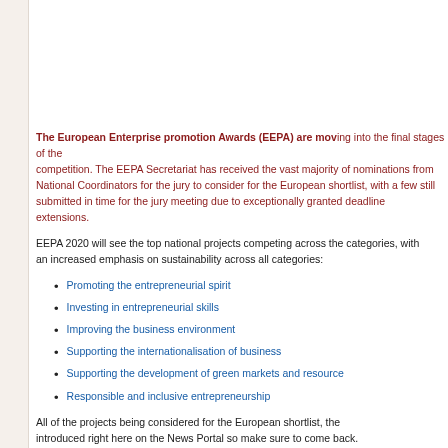The European Enterprise promotion Awards (EEPA) are moving into the final stages of the competition. The EEPA Secretariat has received the vast majority of nominations from National Coordinators for the jury to consider for the European shortlist, with a few still submitted in time for the jury meeting due to exceptionally granted deadline extensions.
EEPA 2020 will see the top national projects competing across the categories, with an increased emphasis on sustainability across all categories:
Promoting the entrepreneurial spirit
Investing in entrepreneurial skills
Improving the business environment
Supporting the internationalisation of business
Supporting the development of green markets and resource efficiency
Responsible and inclusive entrepreneurship
All of the projects being considered for the European shortlist, the will be introduced right here on the News Portal so make sure to come back and see who is being recognised by the participants. EEPA 2020 is...